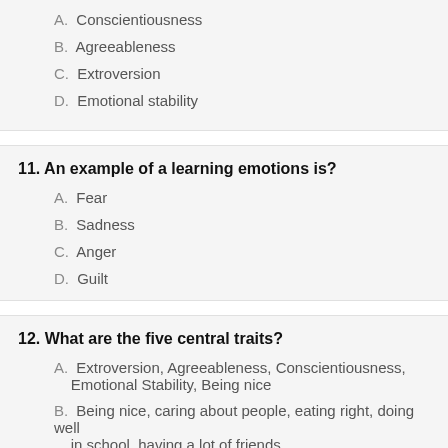A. Conscientiousness
B. Agreeableness
C. Extroversion
D. Emotional stability
11. An example of a learning emotions is?
A. Fear
B. Sadness
C. Anger
D. Guilt
12. What are the five central traits?
A. Extroversion, Agreeableness, Conscientiousness, Emotional Stability, Being nice
B. Being nice, caring about people, eating right, doing well in school, having a lot of friends.
C. Extroversion, Agreeableness, Conscientiousness, Emotional Stability, Openness to Experiences
D. Extroversion, Agreeableness, Conscientiousness,